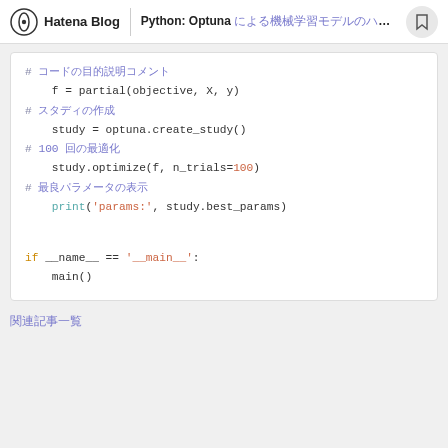Hatena Blog | Python: Optuna による機械学習モデルのハイパーパラメータ自動最適化
# コードブロック内のコメント
f = partial(objective, X, y)
# スタディの作成
study = optuna.create_study()
# 100 回の最適化
study.optimize(f, n_trials=100)
# 最良パラメータの表示
print('params:', study.best_params)

if __name__ == '____main__':
    main()
関連記事一覧